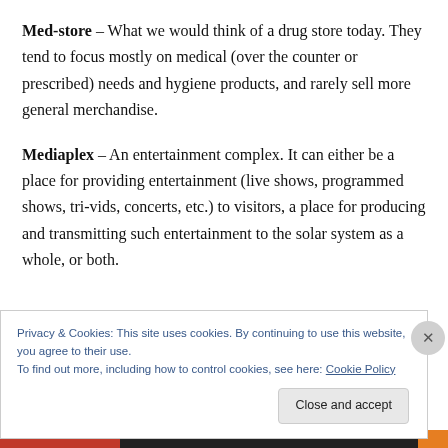Med-store – What we would think of a drug store today. They tend to focus mostly on medical (over the counter or prescribed) needs and hygiene products, and rarely sell more general merchandise.
Mediaplex – An entertainment complex. It can either be a place for providing entertainment (live shows, programmed shows, tri-vids, concerts, etc.) to visitors, a place for producing and transmitting such entertainment to the solar system as a whole, or both.
Privacy & Cookies: This site uses cookies. By continuing to use this website, you agree to their use.
To find out more, including how to control cookies, see here: Cookie Policy
Close and accept